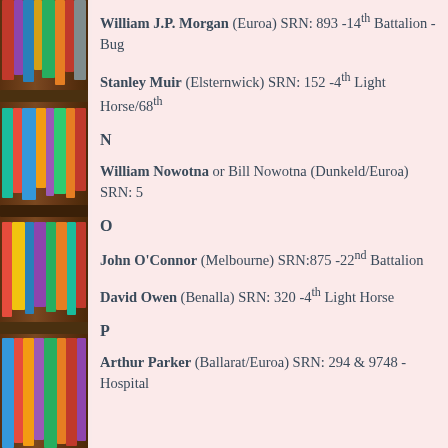William J.P. Morgan (Euroa) SRN: 893 -14th Battalion -Bug
Stanley Muir (Elsternwick) SRN: 152 -4th Light Horse/68th
N
William Nowotna or Bill Nowotna (Dunkeld/Euroa) SRN: 5
O
John O'Connor (Melbourne) SRN:875 -22nd Battalion
David Owen (Benalla) SRN: 320 -4th Light Horse
P
Arthur Parker (Ballarat/Euroa) SRN: 294 & 9748 -Hospital